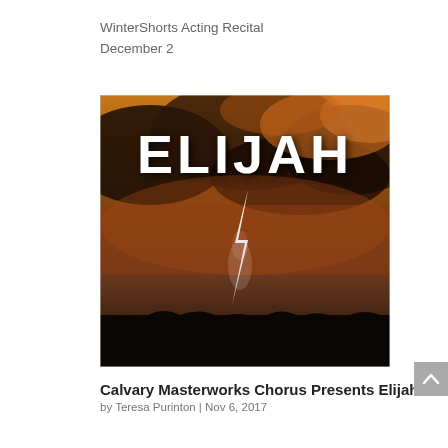WinterShorts Acting Recital
December 2
[Figure (photo): Dramatic stormy sky with orange and dark clouds, a lightning bolt, and silhouetted treeline. Large white bold text 'ELIJAH' displayed prominently in the upper portion of the image.]
Calvary Masterworks Chorus Presents Elijah
by Teresa Purinton | Nov 6, 2017